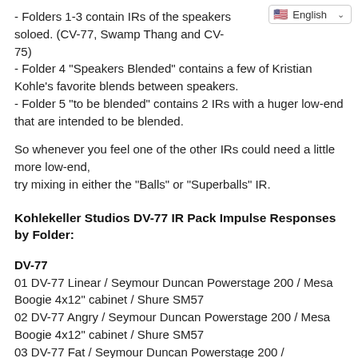- Folders 1-3 contain IRs of the speakers soloed. (CV-77, Swamp Thang and CV-75)
- Folder 4 "Speakers Blended" contains a few of Kristian Kohle's favorite blends between speakers.
- Folder 5 "to be blended" contains 2 IRs with a huger low-end that are intended to be blended.
So whenever you feel one of the other IRs could need a little more low-end,
try mixing in either the "Balls" or "Superballs" IR.
Kohlekeller Studios DV-77 IR Pack Impulse Responses by Folder:
DV-77
01 DV-77 Linear / Seymour Duncan Powerstage 200 / Mesa Boogie 4x12" cabinet / Shure SM57
02 DV-77 Angry / Seymour Duncan Powerstage 200 / Mesa Boogie 4x12" cabinet / Shure SM57
03 DV-77 Fat / Seymour Duncan Powerstage 200 /